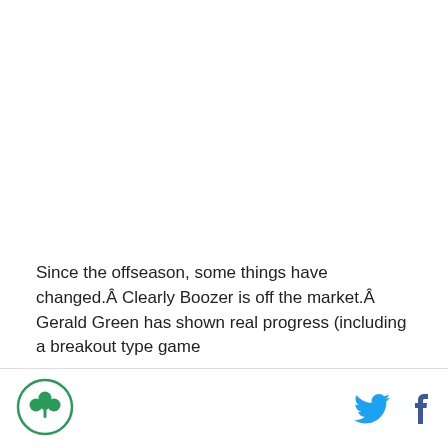Since the offseason, some things have changed.Â Clearly Boozer is off the market.Â  Gerald Green has shown real progress (including a breakout type game
[Figure (logo): Circular logo with green shamrock/clover design and green border on white background]